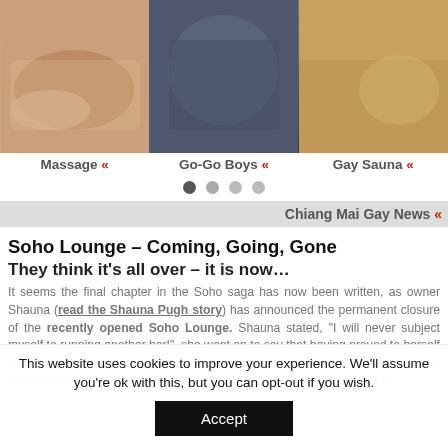[Figure (photo): Three side-by-side photos: massage scene, go-go boys group, gay sauna scene]
Massage «   Go-Go Boys «   Gay Sauna «
[Figure (infographic): Four navigation dots, first one active/dark]
Chiang Mai Gay News «
Soho Lounge – Coming, Going, Gone
They think it's all over – it is now…
It seems the final chapter in the Soho saga has now been written, as owner Shauna (read the Shauna Pugh story) has announced the permanent closure of the recently opened Soho Lounge. Shauna stated, "I will never subject myself to running another bar!", she went on to say that having proved to herself she could run a bar with a bang it was not what she wanted in life and it was now time to do other things. She has headed to an unknown location in
This website uses cookies to improve your experience. We'll assume you're ok with this, but you can opt-out if you wish.
Accept